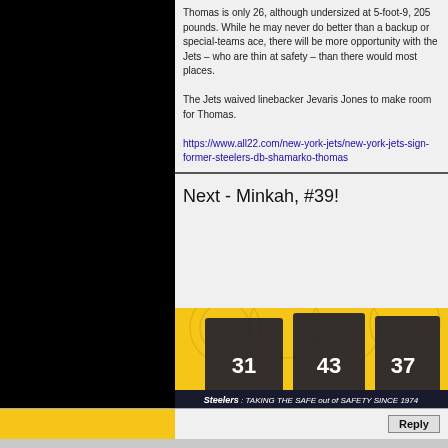Thomas is only 26, although undersized at 5-foot-9, 205 pounds. While he may never do better than a backup or special-teams ace, there will be more opportunity with the Jets – who are thin at safety – than there would most places.
The Jets waived linebacker Jevaris Jones to make room for Thomas.
https://www.all22.com/new-york-jets/new-york-jets-sign-former-steelers-db-shamarko-thomas
Next - Minkah, #39!
[Figure (photo): Pittsburgh Steelers players in black uniforms with numbers 31, 43, 37. Banner text reads: Steelers: TAKING THE SAFE out of SAFETY SINCE 1974]
Reply